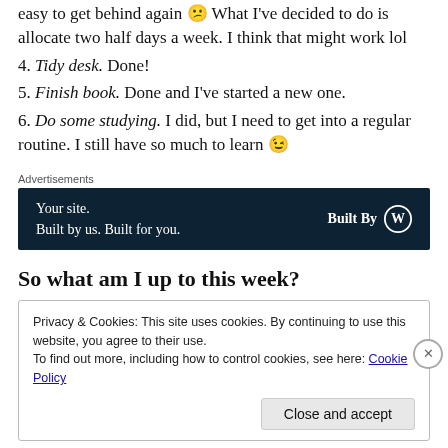easy to get behind again 😕 What I've decided to do is allocate two half days a week. I think that might work lol
4. Tidy desk. Done!
5. Finish book. Done and I've started a new one.
6. Do some studying. I did, but I need to get into a regular routine. I still have so much to learn 😉
Advertisements
[Figure (other): Advertisement banner: dark navy background with text 'Your site. Built by us. Built for you.' and 'Built By' with WordPress logo]
So what am I up to this week?
Privacy & Cookies: This site uses cookies. By continuing to use this website, you agree to their use. To find out more, including how to control cookies, see here: Cookie Policy